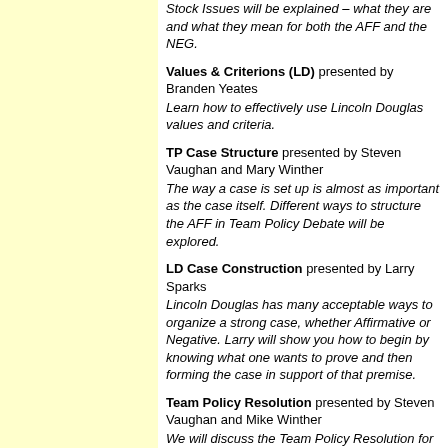Stock Issues will be explained – what they are and what they mean for both the AFF and the NEG.
Values & Criterions (LD) presented by Branden Yeates
Learn how to effectively use Lincoln Douglas values and criteria.
TP Case Structure presented by Steven Vaughan and Mary Winther
The way a case is set up is almost as important as the case itself. Different ways to structure the AFF in Team Policy Debate will be explored.
LD Case Construction presented by Larry Sparks
Lincoln Douglas has many acceptable ways to organize a strong case, whether Affirmative or Negative. Larry will show you how to begin by knowing what one wants to prove and then forming the case in support of that premise.
Team Policy Resolution presented by Steven Vaughan and Mike Winther
We will discuss the Team Policy Resolution for the upcoming season, giving an overview of the status quo, and possibly some areas of debate.